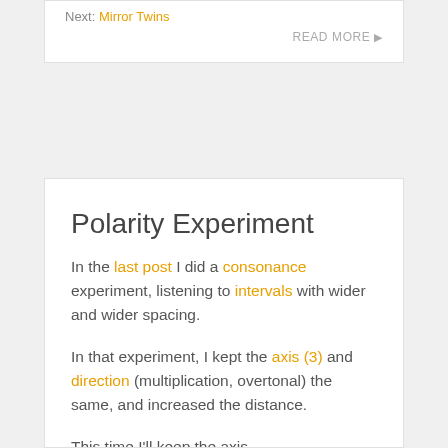Next: Mirror Twins
READ MORE ▶
Polarity Experiment
In the last post I did a consonance experiment, listening to intervals with wider and wider spacing.
In that experiment, I kept the axis (3) and direction (multiplication, overtonal) the same, and increased the distance.
This time I'll keep the axis